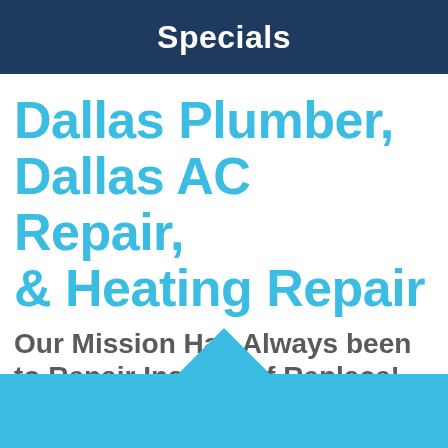Specials
Dallas Plumber, Dallas AC Repair, & Heating Repair
Our Mission Has Always been to Repair Instead of Replace!